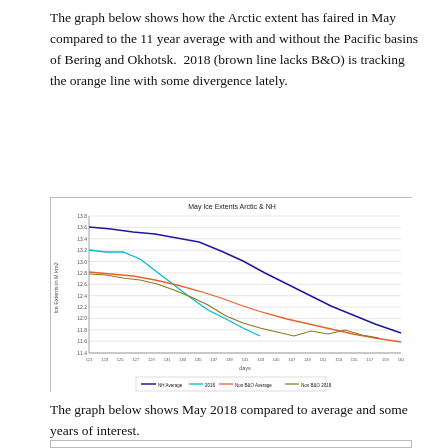The graph below shows how the Arctic extent has faired in May compared to the 11 year average with and without the Pacific basins of Bering and Okhotsk.  2018 (brown line lacks B&O) is tracking the orange line with some divergence lately.
[Figure (line-chart): Line chart showing May ice extents for Arctic and NH. Four lines: dark blue (NH Average), cyan (2018), red/orange (Non B&O Average), olive/brown (Non B&O 2018). All lines trend downward from ~12.6 to ~11.8 over the month. The dark blue line is highest and flattest in slope, while the others cluster lower.]
The graph below shows May 2018 compared to average and some years of interest.